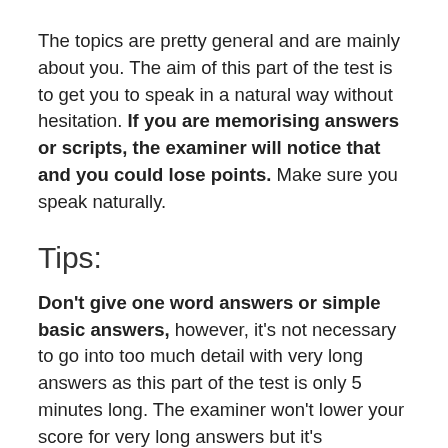The topics are pretty general and are mainly about you. The aim of this part of the test is to get you to speak in a natural way without hesitation. If you are memorising answers or scripts, the examiner will notice that and you could lose points. Make sure you speak naturally.
Tips:
Don't give one word answers or simple basic answers, however, it's not necessary to go into too much detail with very long answers as this part of the test is only 5 minutes long. The examiner won't lower your score for very long answers but it's